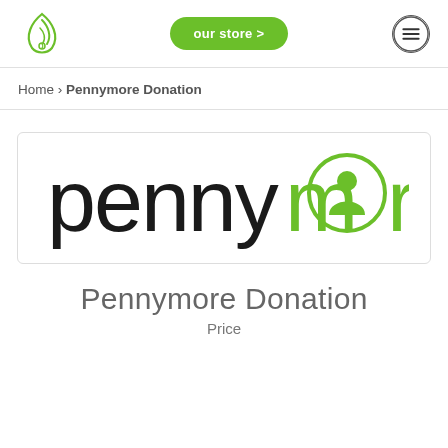[Figure (logo): Green leaf/droplet logo icon for the website]
our store >
[Figure (other): Hamburger menu icon (three horizontal lines in a circle)]
Home › Pennymore Donation
[Figure (logo): Pennymore logo: 'penny' in black lowercase and 'more' in green lowercase with a circular emblem replacing the 'o']
Pennymore Donation
Price